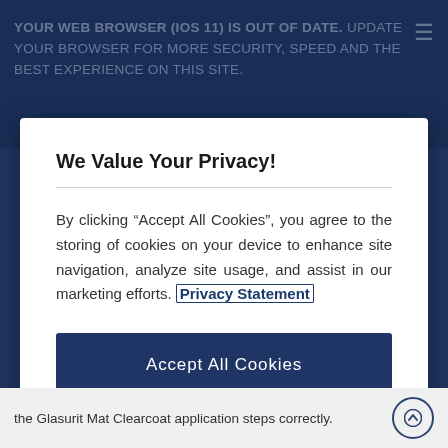YOUR WEB BROWSER (IOS 11) IS OUT OF DATE. UPDATE YOUR BROWSER FOR MORE SECURITY, SPEED AND THE BEST EXPERIENCE ON THIS SITE.
We Value Your Privacy!
By clicking “Accept All Cookies”, you agree to the storing of cookies on your device to enhance site navigation, analyze site usage, and assist in our marketing efforts. Privacy Statement
Accept All Cookies
Cookies Settings
the Glasurit Mat Clearcoat application steps correctly.